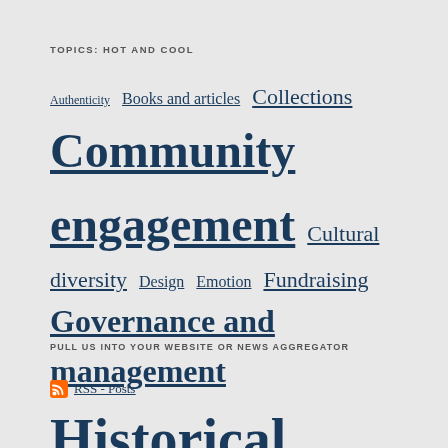TOPICS: HOT AND COOL
[Figure (infographic): Tag cloud showing topic links in varying font sizes indicating popularity. Topics include: Authenticity, Books and articles, Collections (medium), Community engagement (extra large bold), Cultural diversity, Design, Emotion, Fundraising (large), Governance and management (large bold), Historical interpretation (huge bold), Historic preservation, History (large), Interview, Leaders in the field, Museum, Objects, People, Performance measures, Resources (large), Social media (large), Story, Strategy, Technology (extra large bold), Training (extra large bold), Uncategorized (large).]
PULL US INTO YOUR WEBSITE OR NEWS AGGREGATOR
RSS - Posts